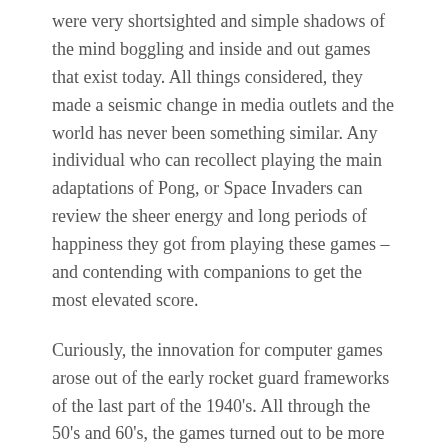were very shortsighted and simple shadows of the mind boggling and inside and out games that exist today. All things considered, they made a seismic change in media outlets and the world has never been something similar. Any individual who can recollect playing the main adaptations of Pong, or Space Invaders can review the sheer energy and long periods of happiness they got from playing these games – and contending with companions to get the most elevated score.
Curiously, the innovation for computer games arose out of the early rocket guard frameworks of the last part of the 1940's. All through the 50's and 60's, the games turned out to be more refined and complex. The main industrially suitable game was presented in 1971 and was called Computer Space.
Since that time, the advancement and interest in the